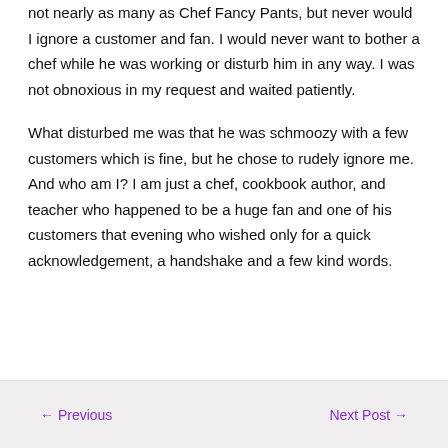not nearly as many as Chef Fancy Pants, but never would I ignore a customer and fan. I would never want to bother a chef while he was working or disturb him in any way. I was not obnoxious in my request and waited patiently.
What disturbed me was that he was schmoozy with a few customers which is fine, but he chose to rudely ignore me. And who am I? I am just a chef, cookbook author, and teacher who happened to be a huge fan and one of his customers that evening who wished only for a quick acknowledgement, a handshake and a few kind words.
← Previous    Next Post →